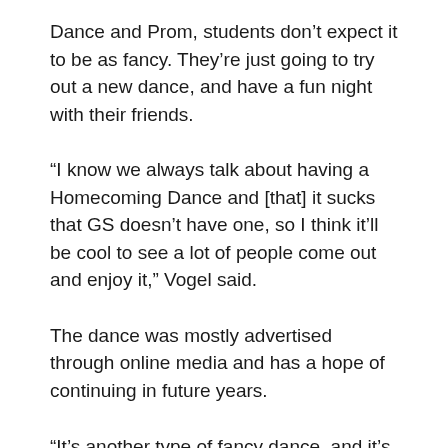Dance and Prom, students don't expect it to be as fancy. They're just going to try out a new dance, and have a fun night with their friends.
“I know we always talk about having a Homecoming Dance and [that] it sucks that GS doesn’t have one, so I think it’ll be cool to see a lot of people come out and enjoy it,” Vogel said.
The dance was mostly advertised through online media and has a hope of continuing in future years.
“It’s another type of fancy dance, and it’s a dance that’s not the winter formal or prom, the only other two,” Vogel said.